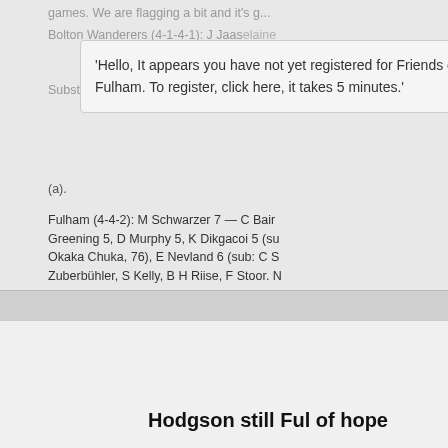games. We are flagging a bit and it's g...
Bolton Wanderers (4-1-4-1): J Jaaskelainen... S Ricketts 6 —... ten 5, M Ta... Substitutes not used: J Samuel, R Gardner... (a).
[Figure (screenshot): Popup dialog box saying: 'Hello, It appears you have not yet registered for Friends of Fulham. To register, click here, it takes 5 minutes.' with a close X button.]
Fulham (4-4-2): M Schwarzer 7 — C Bair... Greening 5, D Murphy 5, K Dikgacoi 5 (su... Okaka Chuka, 76), E Nevland 6 (sub: C S... Zuberbühler, S Kelly, B H Riise, F Stoor. N...
Referee: M Clattenburg. Attendance: 22,2...
White Noise
Guest
Re: Monday Fulham Stuff (08.02.1...
« Reply #15 on: February 08, 2010, 02:49... PM »
http://www.thesun.co.uk/sol/homepage/sport/foo...
Hodgson still Ful of hope